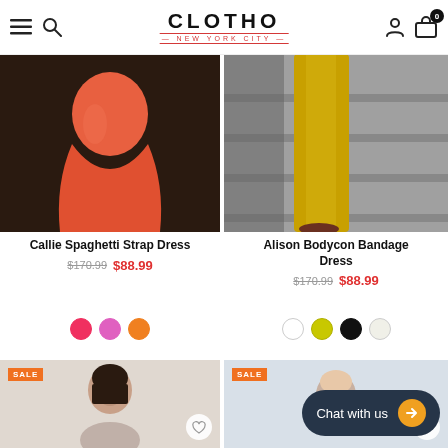CLOTHO NEW YORK CITY
[Figure (photo): Orange bodycon dress product photo]
[Figure (photo): Yellow wide-leg pants product photo]
Callie Spaghetti Strap Dress
$170.99  $88.99
Alison Bodycon Bandage Dress
$170.99  $88.99
[Figure (photo): Color swatches for Callie dress: red, pink, orange]
[Figure (photo): Color swatches for Alison dress: white, yellow, black, light]
[Figure (photo): Bottom left product card with SALE badge and female portrait]
[Figure (photo): Bottom right product card with SALE badge]
Chat with us